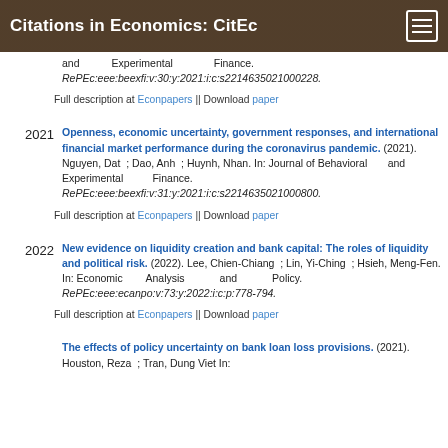Citations in Economics: CitEc
and Experimental Finance. RePEc:eee:beexfi:v:30:y:2021:i:c:s2214635021000228.
Full description at Econpapers || Download paper
Openness, economic uncertainty, government responses, and international financial market performance during the coronavirus pandemic. (2021). Nguyen, Dat ; Dao, Anh ; Huynh, Nhan. In: Journal of Behavioral and Experimental Finance. RePEc:eee:beexfi:v:31:y:2021:i:c:s2214635021000800.
Full description at Econpapers || Download paper
New evidence on liquidity creation and bank capital: The roles of liquidity and political risk. (2022). Lee, Chien-Chiang ; Lin, Yi-Ching ; Hsieh, Meng-Fen. In: Economic Analysis and Policy. RePEc:eee:ecanpo:v:73:y:2022:i:c:p:778-794.
Full description at Econpapers || Download paper
The effects of policy uncertainty on bank loan loss provisions. (2021). Houston, Reza ; Tran, Dung Viet In: